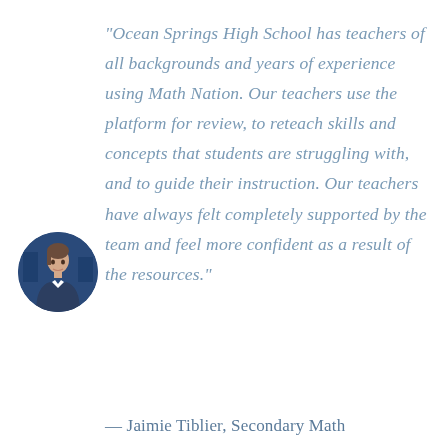“Ocean Springs High School has teachers of all backgrounds and years of experience using Math Nation. Our teachers use the platform for review, to reteach skills and concepts that students are struggling with, and to guide their instruction. Our teachers have always felt completely supported by the team and feel more confident as a result of the resources.”
[Figure (photo): Circular headshot of Jaimie Tiblier, a woman in professional attire, against a dark blue background]
— Jaimie Tiblier, Secondary Math